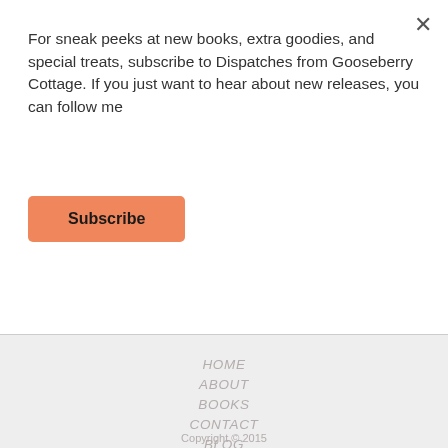For sneak peeks at new books, extra goodies, and special treats, subscribe to Dispatches from Gooseberry Cottage. If you just want to hear about new releases, you can follow me
Subscribe
HOME
ABOUT
BOOKS
CONTACT
BLOG
Copyright © 2015